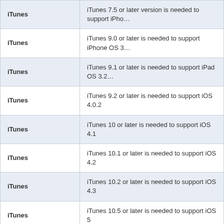|  |  |
| --- | --- |
| iTunes | iTunes 7.5 or later version is needed to support iPho... |
| iTunes | iTunes 9.0 or later is needed to support iPhone OS 3... |
| iTunes | iTunes 9.1 or later is needed to support iPad OS 3.2... |
| iTunes | iTunes 9.2 or later is needed to support iOS 4.0.2 |
| iTunes | iTunes 10 or later is needed to support iOS 4.1 |
| iTunes | iTunes 10.1 or later is needed to support iOS 4.2 |
| iTunes | iTunes 10.2 or later is needed to support iOS 4.3 |
| iTunes | iTunes 10.5 or later is needed to support iOS 5 |
[Figure (screenshot): App icon showing a 2x2 grid of colored squares (red and blue)]
Main Screenshot
Click to see more screenshots of iMacsoft iPhone S...
Ready to try or buy?
Buy iMacsoft iPhone SMS to Mac Transfer  Price: 14.99